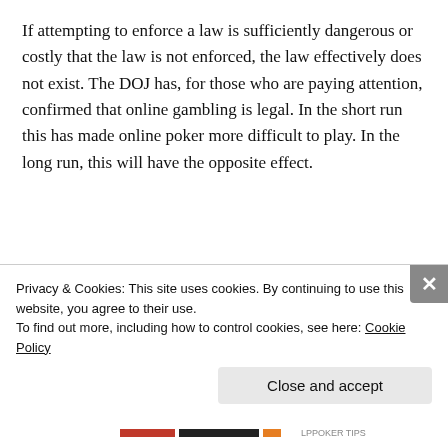If attempting to enforce a law is sufficiently dangerous or costly that the law is not enforced, the law effectively does not exist. The DOJ has, for those who are paying attention, confirmed that online gambling is legal. In the short run this has made online poker more difficult to play. In the long run, this will have the opposite effect.
Advertisements
[Figure (other): Dark advertisement banner with white square icon and number 2]
Privacy & Cookies: This site uses cookies. By continuing to use this website, you agree to their use.
To find out more, including how to control cookies, see here: Cookie Policy
Close and accept